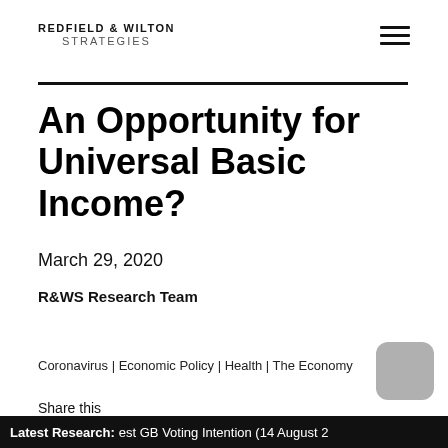REDFIELD & WILTON STRATEGIES
An Opportunity for Universal Basic Income?
March 29, 2020
R&WS Research Team
Coronavirus | Economic Policy | Health | The Economy
Share this
Latest Research: est GB Voting Intention (14 August 2